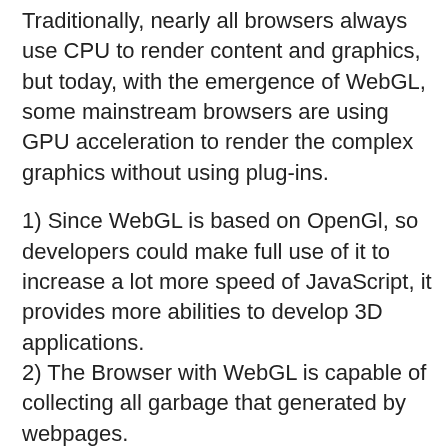Traditionally, nearly all browsers always use CPU to render content and graphics, but today, with the emergence of WebGL, some mainstream browsers are using GPU acceleration to render the complex graphics without using plug-ins.
1) Since WebGL is based on OpenGl, so developers could make full use of it to increase a lot more speed of JavaScript, it provides more abilities to develop 3D applications.
2) The Browser with WebGL is capable of collecting all garbage that generated by webpages.
3) WebGL could produce the complex visual effects by using shaders.
4) Allows users to develop simple 2D games and applications.